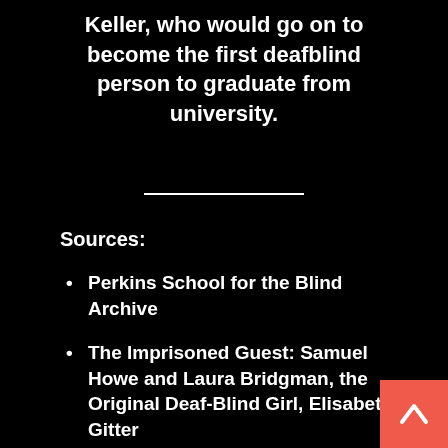Keller, who would go on to become the first deafblind person to graduate from university.
Sources:
Perkins School for the Blind Archive
The Imprisoned Guest: Samuel Howe and Laura Bridgman, the Original Deaf-Blind Girl, Elisabeth Gitter